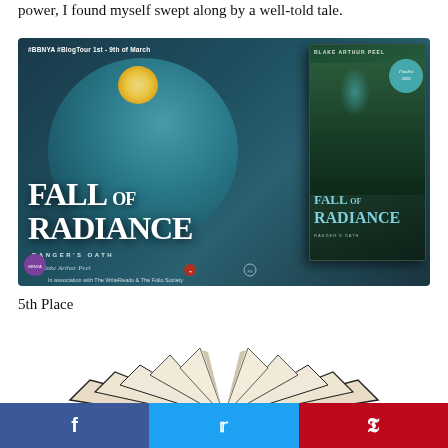power, I found myself swept along by a well-told tale.
[Figure (illustration): Blog tour banner for 'Fall of Radiance: Ranger's Oath' by Blake Arthur Peel. Dark teal background with moon circle, large white title text 'FALL OF RADIANCE RANGER'S OATH', book cover art on the right showing two fantasy characters. Text reads '#BBNYA #BlogTour 1st - 9th of March', 'by Blake Arthur Peel', 'In association with The WriteReads & The Folio Society'. Finalist 2020 badge visible.]
5th Place
[Figure (illustration): Open book illustration with stylized pages fanning out on both sides, black outline style on white background.]
f  [Facebook]   [Twitter]   P [Pinterest]